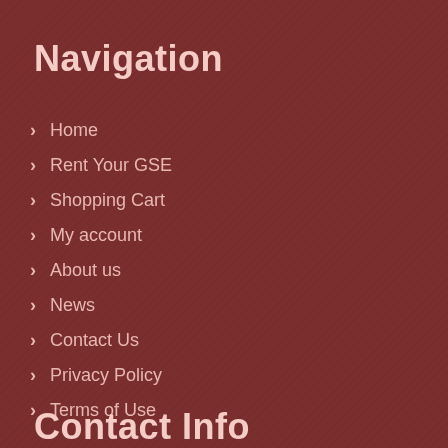Navigation
Home
Rent Your GSE
Shopping Cart
My account
About us
News
Contact Us
Privacy Policy
Terms of Use
Contact Info